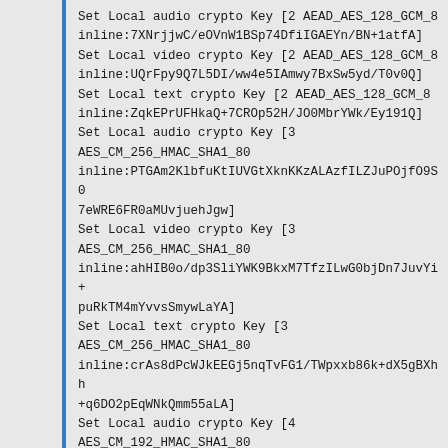Set Local audio crypto Key [2 AEAD_AES_128_GCM_8 inline:7XNrjjwC/eOVnW1BSp74DfiIGAEYn/BN+1atfA]
Set Local video crypto Key [2 AEAD_AES_128_GCM_8 inline:UQrFpy9Q7L5DI/ww4e5IAmwy7BxSw5yd/T0v0Q]
Set Local text crypto Key [2 AEAD_AES_128_GCM_8 inline:ZqkEPrUFHkaQ+7CROp52H/JO0MbrYWk/Ey191Q]
Set Local audio crypto Key [3 AES_CM_256_HMAC_SHA1_80 inline:PTGAm2KlbfuKtIUVGtXknKKzALAzfILZJuPOjfO9S07eWRE6FR0aMUvjuehJgw]
Set Local video crypto Key [3 AES_CM_256_HMAC_SHA1_80 inline:ahHIB0o/dp3SliYWK9BkxM7TfzILwG0bjDn7JuvYi+puRkTM4mYvvsSmywLaYA]
Set Local text crypto Key [3 AES_CM_256_HMAC_SHA1_80 inline:crAs8dPcWJkEEGj5nqTvFG1/TWpxxb86k+dX5gBXhh+q6DO2pEqWNkQmm55aLA]
Set Local audio crypto Key [4 AES_CM_192_HMAC_SHA1_80 inline:SLBJWjgMdfiYX7TUwWQ9CmqUsILLJrpBIVjbfuQmpBIFLvvA/XU]
Set Local video crypto Key [4